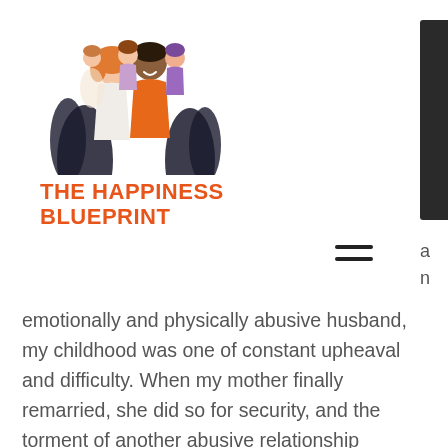[Figure (logo): The Happiness Blueprint logo with illustrated family characters (adults and children) with decorative plants, above orange bold uppercase text reading THE HAPPINESS BLUEPRINT]
emotionally and physically abusive husband, my childhood was one of constant upheaval and difficulty. When my mother finally remarried, she did so for security, and the torment of another abusive relationship degraded any hope for a normal life. I have since lost her to cancer, and a sister to suicide.